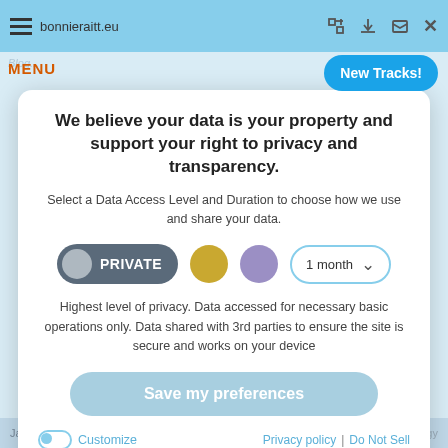bonnieraitt.eu
We believe your data is your property and support your right to privacy and transparency.
Select a Data Access Level and Duration to choose how we use and share your data.
PRIVATE   1 month
Highest level of privacy. Data accessed for necessary basic operations only. Data shared with 3rd parties to ensure the site is secure and works on your device
Save my preferences
Customize   Privacy policy | Do Not Sell